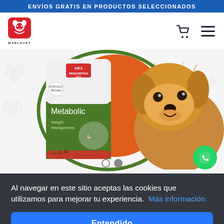ENVÍOS GRATIS EN PRODUCTOS SELECCIONADOS
[Figure (logo): Marlovet logo: red square with stylized dog/cat silhouette, text MARLOVET below]
[Figure (screenshot): Hill's Prescription Diet Metabolic Weight Management dog food banner with a fluffy golden/brown dog on an orange and green circular background with paw print watermarks]
Al navegar en este sitio aceptas las cookies que utilizamos para mejorar tu experiencia.  Más información.
Entendido